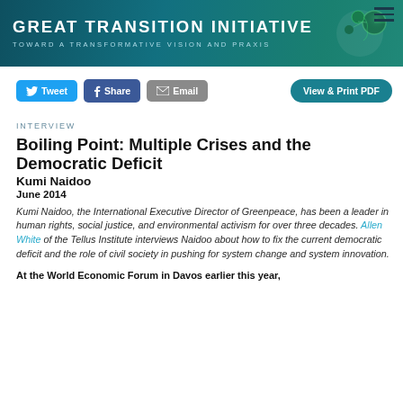Great Transition Initiative — Toward a Transformative Vision and Praxis
Tweet  Share  Email  View & Print PDF
INTERVIEW
Boiling Point: Multiple Crises and the Democratic Deficit
Kumi Naidoo
June 2014
Kumi Naidoo, the International Executive Director of Greenpeace, has been a leader in human rights, social justice, and environmental activism for over three decades. Allen White of the Tellus Institute interviews Naidoo about how to fix the current democratic deficit and the role of civil society in pushing for system change and system innovation.
At the World Economic Forum in Davos earlier this year,